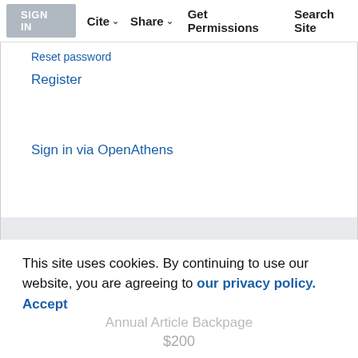SIGN IN | Cite | Share | Get Permissions | Search Site
Reset password
Register
Sign in via OpenAthens
Pay-Per-View Access $10.00
BUY THIS ARTICLE
This site uses cookies. By continuing to use our website, you are agreeing to our privacy policy. Accept
Annual Article Backpage $200